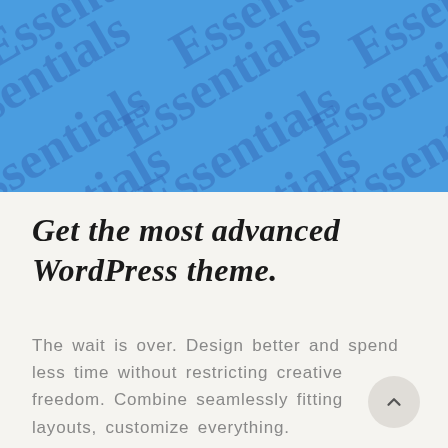[Figure (illustration): Blue hero banner background with repeated diagonal 'Essentials' watermark text in a cursive/brush font, slightly darker blue on the blue background]
Get the most advanced WordPress theme.
The wait is over. Design better and spend less time without restricting creative freedom. Combine seamlessly fitting layouts, customize everything.